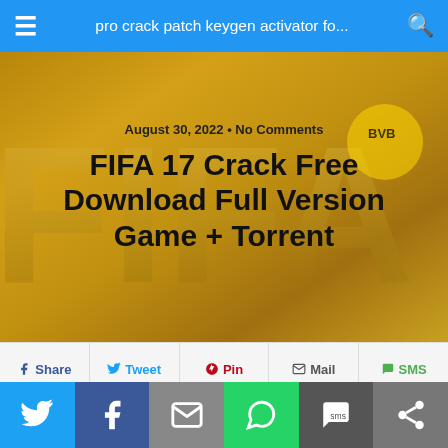pro crack patch keygen activator fo...
[Figure (screenshot): FIFA 17 game logo/hero image background with golden FIFA letters]
August 30, 2022 • No Comments
FIFA 17 Crack Free Download Full Version Game + Torrent
Share  Tweet  Pin  Mail  SMS
Download Setup & Crack
fifa 17 Crack pc game free download for windows.